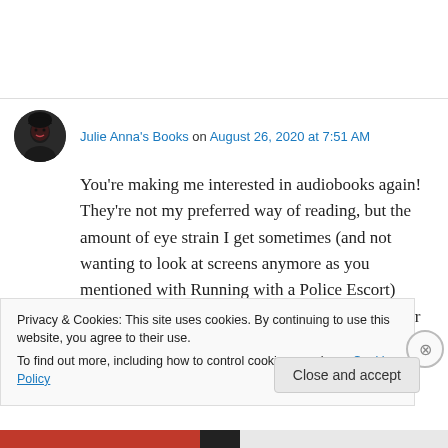Julie Anna's Books on August 26, 2020 at 7:51 AM
You're making me interested in audiobooks again! They're not my preferred way of reading, but the amount of eye strain I get sometimes (and not wanting to look at screens anymore as you mentioned with Running with a Police Escort) makes me think this may be a great alternative for the days I just can't look at
Privacy & Cookies: This site uses cookies. By continuing to use this website, you agree to their use.
To find out more, including how to control cookies, see here: Cookie Policy
Close and accept